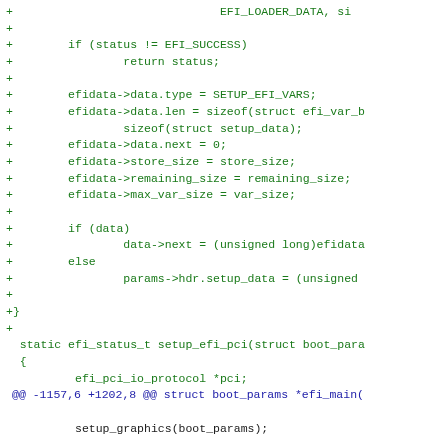diff code block showing git patch for EFI variable setup and efi_main function
+                              EFI_LOADER_DATA, si
+
+        if (status != EFI_SUCCESS)
+                return status;
+
+        efidata->data.type = SETUP_EFI_VARS;
+        efidata->data.len = sizeof(struct efi_var_b
+                sizeof(struct setup_data);
+        efidata->data.next = 0;
+        efidata->store_size = store_size;
+        efidata->remaining_size = remaining_size;
+        efidata->max_var_size = var_size;
+
+        if (data)
+                data->next = (unsigned long)efidata
+        else
+                params->hdr.setup_data = (unsigned
+
+}
+
 static efi_status_t setup_efi_pci(struct boot_para
 {
         efi_pci_io_protocol *pci;
@@ -1157,6 +1202,8 @@ struct boot_params *efi_main(

         setup_graphics(boot_params);

+         setup_efi_vars(boot_params);
+
         setup_efi_pci(boot_params);